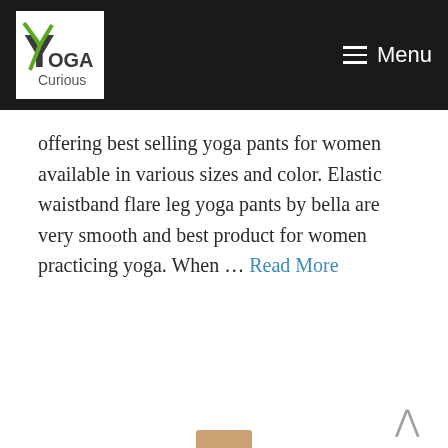Yoga Curious — Menu
offering best selling yoga pants for women available in various sizes and color. Elastic waistband flare leg yoga pants by bella are very smooth and best product for women practicing yoga. When … Read More
Yoga Pants
Eco-friendly Clouds Yoga Pants by Treeki